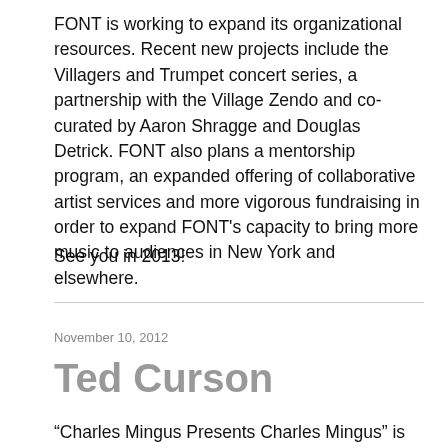FONT is working to expand its organizational resources. Recent new projects include the Villagers and Trumpet concert series, a partnership with the Village Zendo and co-curated by Aaron Shragge and Douglas Detrick. FONT also plans a mentorship program, an expanded offering of collaborative artist services and more vigorous fundraising in order to expand FONT's capacity to bring more music to audiences in New York and elsewhere.
See you in 2013!
November 10, 2012
Ted Curson
“Charles Mingus Presents Charles Mingus” is one of the